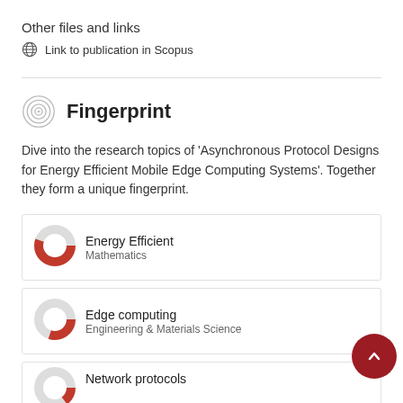Other files and links
Link to publication in Scopus
Fingerprint
Dive into the research topics of 'Asynchronous Protocol Designs for Energy Efficient Mobile Edge Computing Systems'. Together they form a unique fingerprint.
Energy Efficient
Mathematics
Edge computing
Engineering & Materials Science
Network protocols